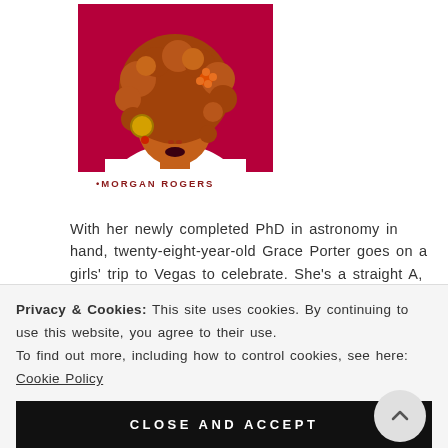[Figure (illustration): Book cover illustration showing a stylized portrait of a Black woman with curly golden-brown hair and a gold hoop earring, wearing a white top, against a magenta/crimson background. Author name 'MORGAN ROGERS' printed at the bottom of the cover.]
With her newly completed PhD in astronomy in hand, twenty-eight-year-old Grace Porter goes on a girls' trip to Vegas to celebrate. She's a straight A, work-through-the-summer certified high achiever. She is not the kind of person who goes to Vegas and gets drunkenly married to a woman whose name she doesn't know...until
Privacy & Cookies: This site uses cookies. By continuing to use this website, you agree to their use.
To find out more, including how to control cookies, see here: Cookie Policy
CLOSE AND ACCEPT